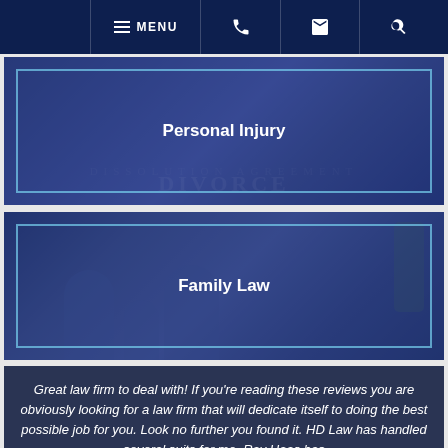MENU | Phone | Email | Search
[Figure (photo): Blue-tinted photo of wedding rings on a divorce document, with 'Personal Injury' text overlay]
[Figure (photo): Blue-tinted photo of a family (adults and child) sitting together, with 'Family Law' text overlay]
Great law firm to deal with! If you're reading these reviews you are obviously looking for a law firm that will dedicate itself to doing the best possible job for you. Look no further you found it. HD Law has handled several suits for me. Ray Haas has